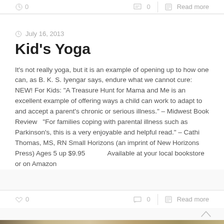0   |   0   Read more
July 16, 2013
Kid's Yoga
It's not really yoga, but it is an example of opening up to how one can, as B. K. S. Iyengar says, endure what we cannot cure:  NEW! For Kids: "A Treasure Hunt for Mama and Me is an excellent example of offering ways a child can work to adapt to and accept a parent's chronic or serious illness." – Midwest Book Review   "For families coping with parental illness such as Parkinson's, this is a very enjoyable and helpful read." – Cathi Thomas, MS, RN Small Horizons (an imprint of New Horizons Press) Ages 5 up $9.95            Available at your local bookstore or on Amazon
0   |   0   Read more